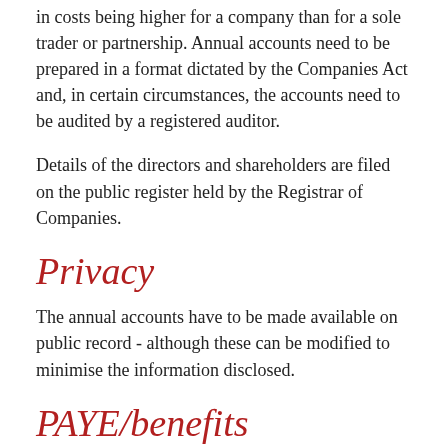in costs being higher for a company than for a sole trader or partnership. Annual accounts need to be prepared in a format dictated by the Companies Act and, in certain circumstances, the accounts need to be audited by a registered auditor.
Details of the directors and shareholders are filed on the public register held by the Registrar of Companies.
Privacy
The annual accounts have to be made available on public record - although these can be modified to minimise the information disclosed.
PAYE/benefits
If you do not have any employees at present, you do not have to be concerned with Pay As You Earn (PAYE) and returns of benefits forms (P11Ds). As a company, you will need to complete PAYE records for salary